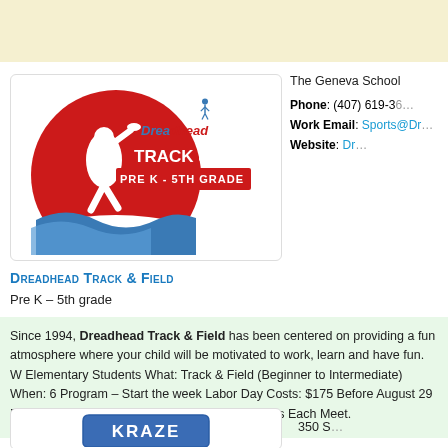[Figure (logo): Dreadhead Track & Field logo with red circle, figure running, blue waves, text PRE K - 5TH GRADE]
The Geneva School
Phone: (407) 619-3...
Work Email: Sports@Dr...
Website: Dr...
Dreadhead Track & Field
Pre K – 5th grade
Since 1994, Dreadhead Track & Field has been centered on providing a fun atmosphere where your child will be motivated to work, learn and have fun. W... Elementary Students What: Track & Field (Beginner to Intermediate) When: 6... Program – Start the week Labor Day Costs: $175 Before August 29 Expect: A... Practices · 6 Saturday Meets · 5 Events Each Meet.
[Figure (logo): Kraze logo partial view at bottom]
350 S...